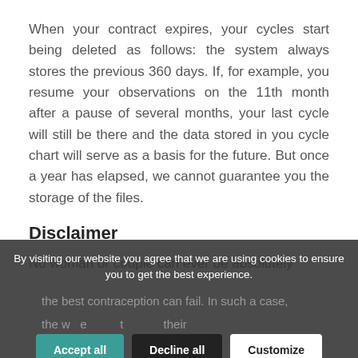When your contract expires, your cycles start being deleted as follows: the system always stores the previous 360 days. If, for example, you resume your observations on the 11th month after a pause of several months, your last cycle will still be there and the data stored in you cycle chart will serve as a basis for the future. But once a year has elapsed, we cannot guarantee you the storage of the files.
Disclaimer
No woman or couple can ever be absolutely certain of avoiding an unwanted pregnancy. Even the best contraception can fail. In such a case, the wo[man] e[xpect] to [use] their [own] [deci]sion [making] [to] the f[uture]
By visiting our website you agree that we are using cookies to ensure you to get the best experience.